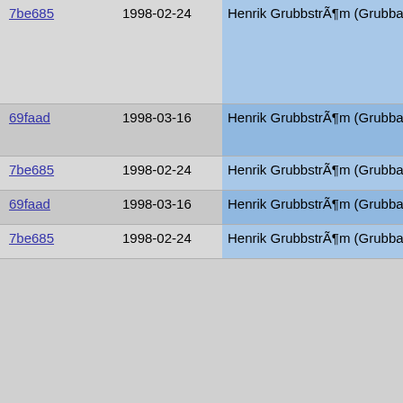| commit | date | author |  | code |
| --- | --- | --- | --- | --- |
| 7be685 | 1998-02-24 | Henrik GrubbstrÃ¶m (Grubba) |  | if |
| 69faad | 1998-03-16 | Henrik GrubbstrÃ¶m (Grubba) |  |  |
| 7be685 | 1998-02-24 | Henrik GrubbstrÃ¶m (Grubba) |  |  |
| 69faad | 1998-03-16 | Henrik GrubbstrÃ¶m (Grubba) |  |  |
| 7be685 | 1998-02-24 | Henrik GrubbstrÃ¶m (Grubba) |  |  |
| 69faad | 1998-03-16 | Henrik GrubbstrÃ¶m (Grubba) |  | #ifdef DIF
    f
#endif /* |
| 7be685 | 1998-02-24 | Henrik GrubbstrÃ¶m (Grubba) |  |  |
| 69faad | 1998-03-16 | Henrik GrubbstrÃ¶m (Grubba) |  |  |
| 7be685 | 1998-02-24 | Henrik GrubbstrÃ¶m (Grubba) |  |  |